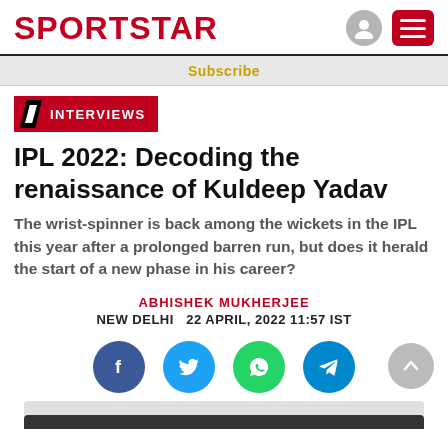SPORTSTAR
Subscribe
INTERVIEWS
IPL 2022: Decoding the renaissance of Kuldeep Yadav
The wrist-spinner is back among the wickets in the IPL this year after a prolonged barren run, but does it herald the start of a new phase in his career?
ABHISHEK MUKHERJEE
NEW DELHI   22 APRIL, 2022 11:57 IST
[Figure (other): Social media share buttons: Facebook, Twitter, WhatsApp, Telegram, and scroll-to-top button]